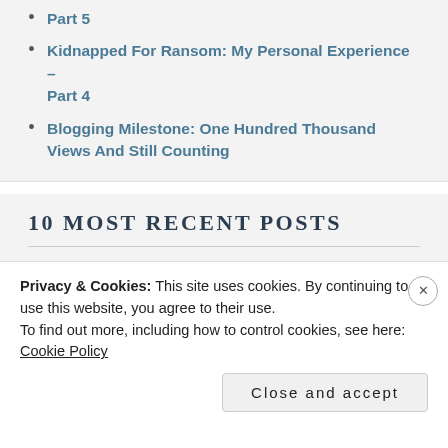Part 5
Kidnapped For Ransom: My Personal Experience – Part 4
Blogging Milestone: One Hundred Thousand Views And Still Counting
10 MOST RECENT POSTS
Next Level Blogging: Time To Go Self-hosting With This Blog
Privacy & Cookies: This site uses cookies. By continuing to use this website, you agree to their use.
To find out more, including how to control cookies, see here: Cookie Policy
Close and accept